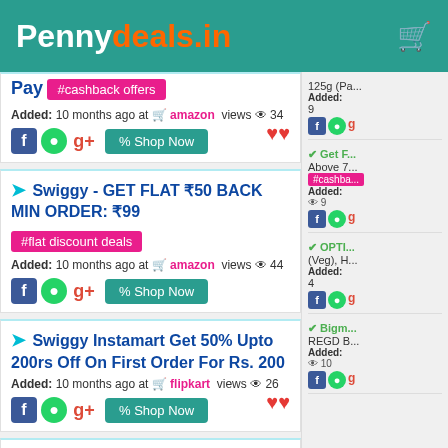Pennydeals.in
Pay #cashback offers
Added: 10 months ago at amazon views 34
Swiggy - GET FLAT ₹50 BACK MIN ORDER: ₹99
#flat discount deals
Added: 10 months ago at amazon views 44
Swiggy Instamart Get 50% Upto 200rs Off On First Order For Rs. 200
Added: 10 months ago at flipkart views 26
125g (Pa... Added: 9
✔ Get F... Above 7... #cashba... Added: 9
✔ OPTI... (Veg), H... Added: 4
✔ Bigm... REGD B... Added: 10